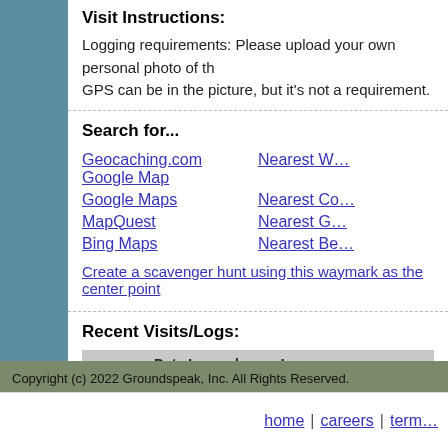Visit Instructions:
Logging requirements: Please upload your own personal photo of th… GPS can be in the picture, but it's not a requirement.
Search for...
Geocaching.com Google Map
Google Maps
MapQuest
Bing Maps
Nearest W…
Nearest Co…
Nearest G…
Nearest Be…
Create a scavenger hunt using this waymark as the center point
Recent Visits/Logs:
|  | Date Logged | Log |
| --- | --- | --- |
| [icon] | 7/25/2021 | Ariberna visited it |
Copyright (c) 2022 Groundspeak, Inc. All Rights Reserved.
home | careers | term…